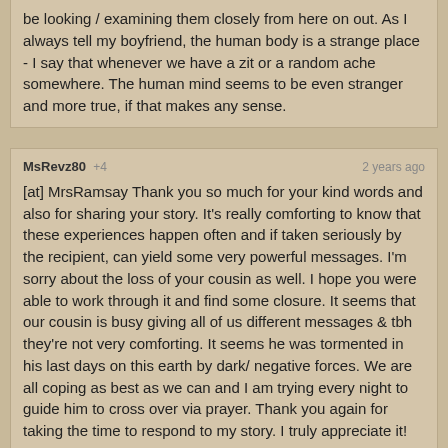be looking / examining them closely from here on out. As I always tell my boyfriend, the human body is a strange place - I say that whenever we have a zit or a random ache somewhere. The human mind seems to be even stranger and more true, if that makes any sense.
MsRevz80 +4 2 years ago
[at] MrsRamsay Thank you so much for your kind words and also for sharing your story. It's really comforting to know that these experiences happen often and if taken seriously by the recipient, can yield some very powerful messages. I'm sorry about the loss of your cousin as well. I hope you were able to work through it and find some closure. It seems that our cousin is busy giving all of us different messages & tbh they're not very comforting. It seems he was tormented in his last days on this earth by dark/ negative forces. We are all coping as best as we can and I am trying every night to guide him to cross over via prayer. Thank you again for taking the time to respond to my story. I truly appreciate it!
unforgiven1 +4 2 years ago
Msrevz80, I am really sorry for your loss and I hope you are